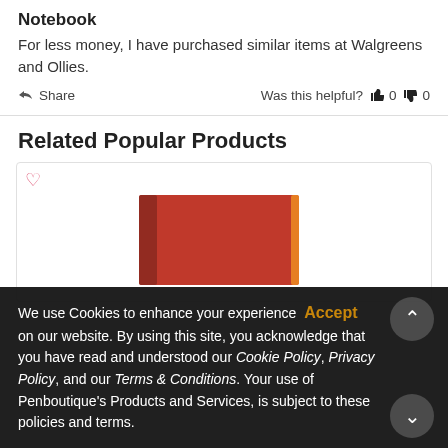Notebook
For less money, I have purchased similar items at Walgreens and Ollies.
Share   Was this helpful?  0  0
Related Popular Products
[Figure (photo): Red notebook with orange elastic band closure, product image for Related Popular Products section]
We use Cookies to enhance your experience on our website. By using this site, you acknowledge that you have read and understood our Cookie Policy, Privacy Policy, and our Terms & Conditions. Your use of Penboutique's Products and Services, is subject to these policies and terms.
Accept